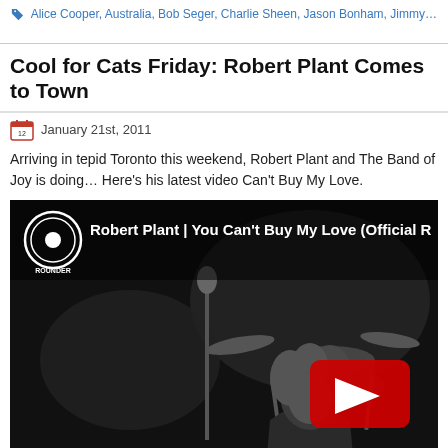Alice Cooper, Australia, Bob Seger, Charlie Sheen, Jason Bonham, Jimmy Buffet, J...
Cool for Cats Friday: Robert Plant Comes to Town
January 21st, 2011
Arriving in tepid Toronto this weekend, Robert Plant and The Band of Joy is doing... Here's his latest video Can't Buy My Love.
[Figure (screenshot): YouTube video thumbnail showing Robert Plant with Rounder Records logo and title 'Robert Plant | You Can't Buy My Love (Official R...' with play button overlay. Black and white concert footage showing performer at microphone and drummer in background.]